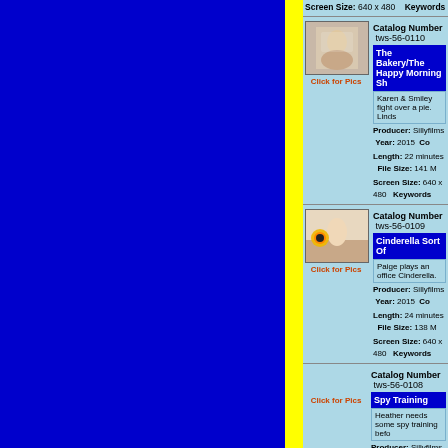Screen Size: 640 x 480   Keywords
Catalog Number  tws-56-0110
[Figure (photo): Video thumbnail showing a person covered in cream/pie]
Click for Pics
The Bakery/The Happy Morning Sh
Karen & Smiley fight over a pie. Linds
Producer: Sillyfilms  Year: 2015  Co
Length: 22 minutes   File Size: 141 M
Screen Size: 640 x 480   Keywords
Catalog Number  tws-56-0109
[Figure (photo): Video thumbnail showing a person in an office setting with a smiley face character]
Click for Pics
Cinderella Sort Of
Paige plays an office Cinderella.
Producer: Sillyfilms  Year: 2015  Co
Length: 24 minutes   File Size: 138 M
Screen Size: 640 x 480   Keywords
Catalog Number  tws-56-0108
Click for Pics
Spy Training
Heather needs some spy training befo
Producer: Sillyfilms  Year: 2015  Co
Length: 24 minutes   File Size: 151 M
Screen Size: 640 x 480   Keywords